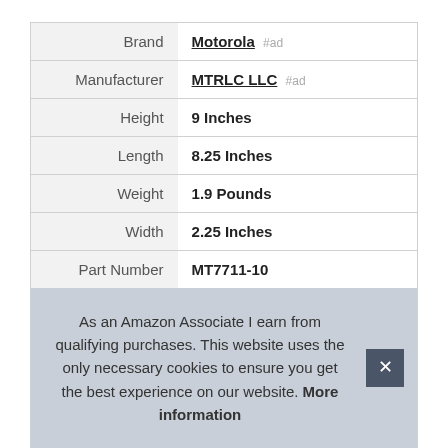| Label | Value |
| --- | --- |
| Brand | Motorola #ad |
| Manufacturer | MTRLC LLC #ad |
| Height | 9 Inches |
| Length | 8.25 Inches |
| Weight | 1.9 Pounds |
| Width | 2.25 Inches |
| Part Number | MT7711-10 |
| Model | MT7711 |
As an Amazon Associate I earn from qualifying purchases. This website uses the only necessary cookies to ensure you get the best experience on our website. More information